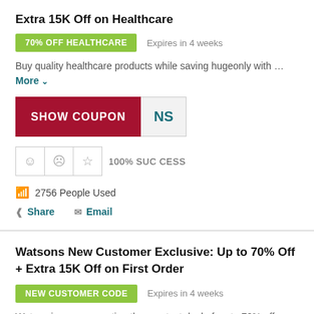Extra 15K Off on Healthcare
70% OFF HEALTHCARE   Expires in 4 weeks
Buy quality healthcare products while saving hugeonly with ... More
SHOW COUPON NS
100% SUCCESS
2756 People Used
Share   Email
Watsons New Customer Exclusive: Up to 70% Off + Extra 15K Off on First Order
NEW CUSTOMER CODE   Expires in 4 weeks
Watson is now presenting the greatest deal of up to 70% off... More